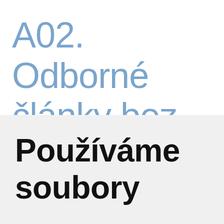A02. Odborné články bez IF 2017
Používáme soubory